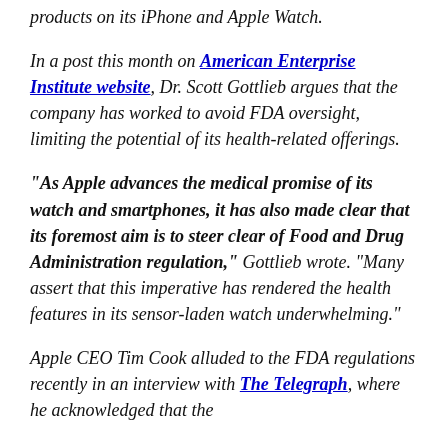products on its iPhone and Apple Watch.
In a post this month on American Enterprise Institute website, Dr. Scott Gottlieb argues that the company has worked to avoid FDA oversight, limiting the potential of its health-related offerings.
“As Apple advances the medical promise of its watch and smartphones, it has also made clear that its foremost aim is to steer clear of Food and Drug Administration regulation,” Gottlieb wrote. “Many assert that this imperative has rendered the health features in its sensor-laden watch underwhelming.”
Apple CEO Tim Cook alluded to the FDA regulations recently in an interview with The Telegraph, where he acknowledged that the